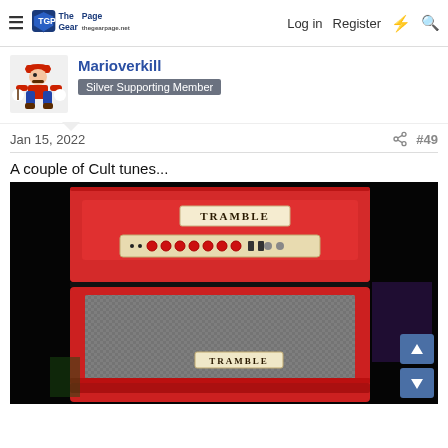The Gear Page — Log in  Register
Marioverkill
Silver Supporting Member
Jan 15, 2022  #49
A couple of Cult tunes...
[Figure (photo): Red Tramble guitar amplifier head and speaker cabinet stacked, with a beige control panel showing multiple red knobs. The amp head reads 'TRAMBLE' on the top and the cabinet also shows the 'TRAMBLE' logo. Both are bright red with a vintage style.]